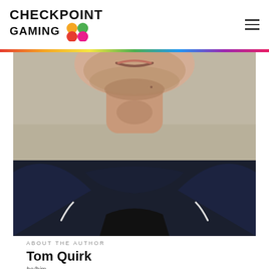CHECKPOINT GAMING
[Figure (photo): Close-up photo of a man's lower face, chin, neck and upper body wearing a dark navy blue hoodie over a black shirt, cropped from chin downward]
ABOUT THE AUTHOR
Tom Quirk
he/him